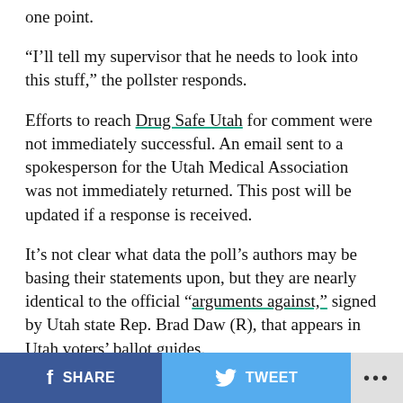one point.
“I’ll tell my supervisor that he needs to look into this stuff,” the pollster responds.
Efforts to reach Drug Safe Utah for comment were not immediately successful. An email sent to a spokesperson for the Utah Medical Association was not immediately returned. This post will be updated if a response is received.
It’s not clear what data the poll’s authors may be basing their statements upon, but they are nearly identical to the official “arguments against,” signed by Utah state Rep. Brad Daw (R), that appears in Utah voters’ ballot guides.
The poll “reveals some of the talking points our
SHARE   TWEET   ...